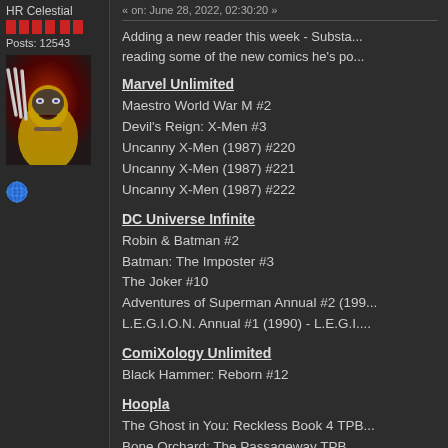HR Celestial
Posts: 12543
[Figure (illustration): Wolverine comic art with claws extended, red and dark background]
[Figure (other): Globe/world icon]
« on: June 28, 2022, 02:30:20 »
Adding a new reader this week - Substa... reading some of the new comics he's po...
Marvel Unlimited
Maestro World War M #2
Devil's Reign: X-Men #3
Uncanny X-Men (1987) #220
Uncanny X-Men (1987) #221
Uncanny X-Men (1987) #222
DC Universe Infinite
Robin & Batman #2
Batman: The Imposter #3
The Joker #10
Adventures of Superman Annual #2 (199...
L.E.G.I.O.N. Annual #1 (1990) - L.E.G.I....
ComiXology Unlimited
Black Hammer: Reborn #12
Hoopla
The Ghost in You: Reckless Book 4 TPB...
Bone Orchard: The Passageway TPB
Substack